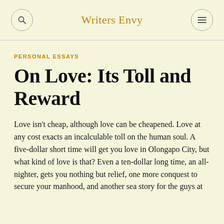Writers Envy
PERSONAL ESSAYS
On Love: Its Toll and Reward
Love isn't cheap, although love can be cheapened. Love at any cost exacts an incalculable toll on the human soul. A five-dollar short time will get you love in Olongapo City, but what kind of love is that? Even a ten-dollar long time, an all-nighter, gets you nothing but relief, one more conquest to secure your manhood, and another sea story for the guys at